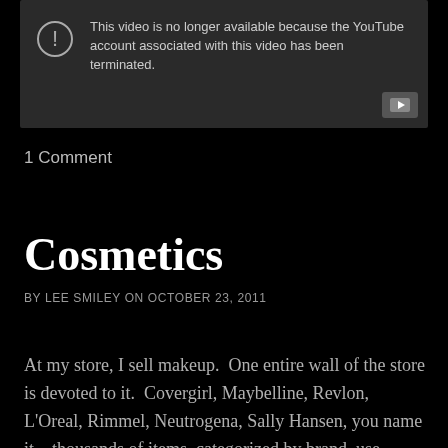[Figure (screenshot): YouTube video unavailable placeholder with dark gray background, exclamation icon, text saying the video is no longer available because the YouTube account associated with this video has been terminated, and a YouTube play button icon in the bottom right.]
1 Comment
Cosmetics
BY LEE SMILEY ON OCTOBER 23, 2011
At my store, I sell makeup.  One entire wall of the store is devoted to it.  Covergirl, Maybelline, Revlon, L'Oreal, Rimmel, Neutrogena, Sally Hansen, you name it—thousands of items, categorized by brand, use,